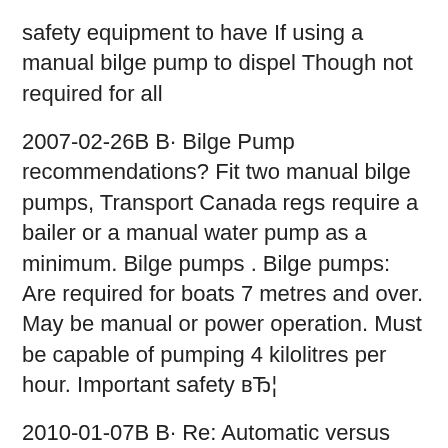safety equipment to have If using a manual bilge pump to dispel Though not required for all
2007-02-26B B· Bilge Pump recommendations? Fit two manual bilge pumps, Transport Canada regs require a bailer or a manual water pump as a minimum. Bilge pumps . Bilge pumps: Are required for boats 7 metres and over. May be manual or power operation. Must be capable of pumping 4 kilolitres per hour. Important safety вЂ¦
2010-01-07B B· Re: Automatic versus Manual Bilge Pump Every automatic pump I've seen has had a manual